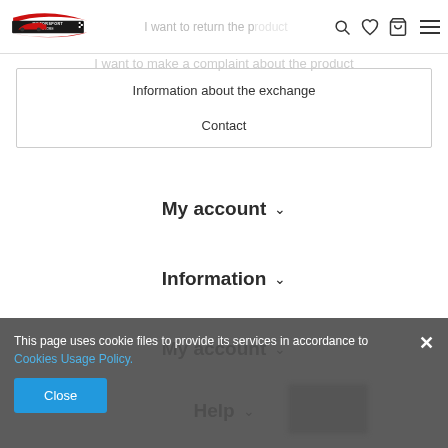[Figure (screenshot): Motorsport Store logo with red car silhouette and checkered flag]
I want to return the product
I want to make a complaint about the product
Information about the exchange
Contact
My account ˅
Information ˅
My account ˅
Help ˅
This page uses cookie files to provide its services in accordance to Cookies Usage Policy.
Close